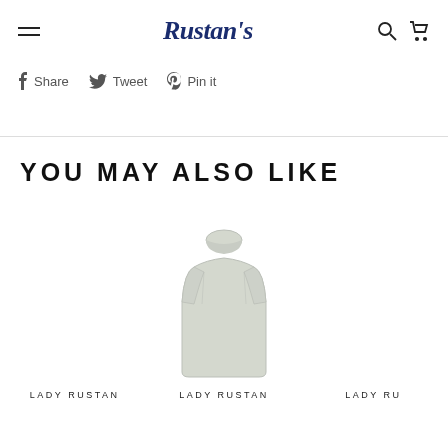Rustan's — navigation header with hamburger menu, logo, search and cart icons
Share  Tweet  Pin it
YOU MAY ALSO LIKE
[Figure (photo): Light beige/cream short-sleeve turtleneck top product photo on white background]
LADY RUSTAN
LADY RUSTAN
LADY RU